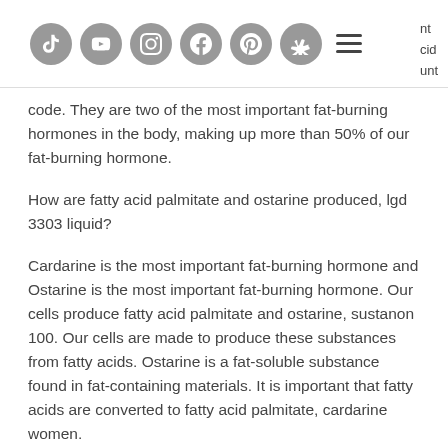Social media icons and navigation header
p... code. They are two of the most important fat-burning hormones in the body, making up more than 50% of our fat-burning hormone.
How are fatty acid palmitate and ostarine produced, lgd 3303 liquid?
Cardarine is the most important fat-burning hormone and Ostarine is the most important fat-burning hormone. Our cells produce fatty acid palmitate and ostarine, sustanon 100. Our cells are made to produce these substances from fatty acids. Ostarine is a fat-soluble substance found in fat-containing materials. It is important that fatty acids are converted to fatty acid palmitate, cardarine women.